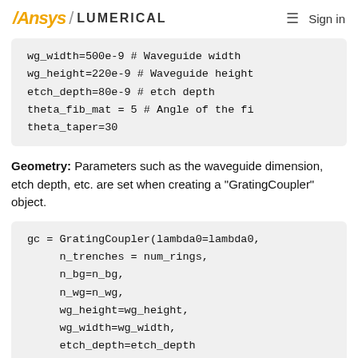Ansys / LUMERICAL   ☰ Sign in
wg_width=500e-9 # Waveguide width
wg_height=220e-9 # Waveguide height
etch_depth=80e-9 # etch depth
theta_fib_mat = 5 # Angle of the fi
theta_taper=30
Geometry: Parameters such as the waveguide dimension, etch depth, etc. are set when creating a "GratingCoupler" object.
gc = GratingCoupler(lambda0=lambda0,
     n_trenches = num_rings,
     n_bg=n_bg,
     n_wg=n_wg,
     wg_height=wg_height,
     wg_width=wg_width,
     etch_depth=etch_depth